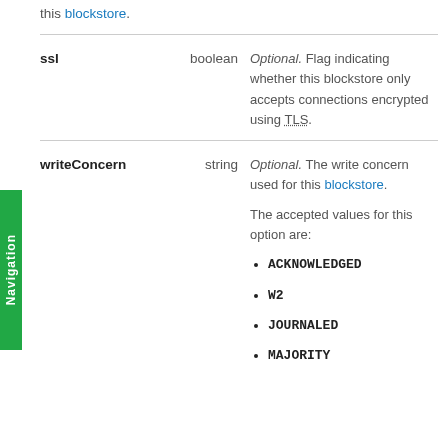this blockstore.
ssl   boolean   Optional. Flag indicating whether this blockstore only accepts connections encrypted using TLS.
writeConcern   string   Optional. The write concern used for this blockstore.

The accepted values for this option are:
ACKNOWLEDGED
W2
JOURNALED
MAJORITY